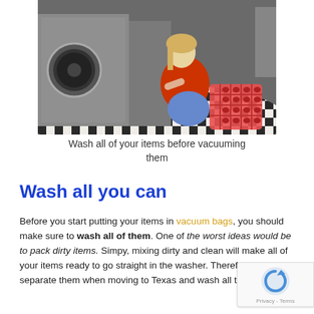[Figure (photo): A woman in a red top and denim shorts crouching at a laundromat washing machine, holding a pink laundry basket, on a black and white checkered floor.]
Wash all of your items before vacuuming them
Wash all you can
Before you start putting your items in vacuum bags, you should make sure to wash all of them. One of the worst ideas would be to pack dirty items. Simpy, mixing dirty and clean will make all of your items ready to go straight in the washer. Therefore, separate them when moving to Texas and wash all that is due.